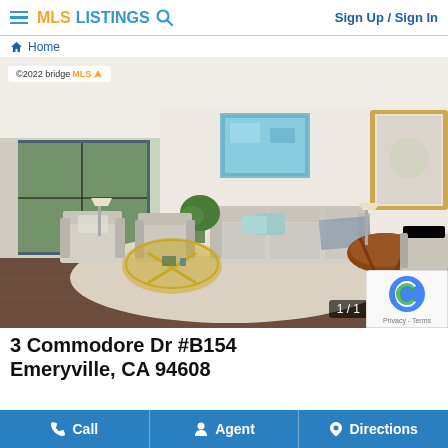MLS LISTINGS Sign Up / Sign In
Home
[Figure (photo): Interior living room photo of a well-furnished apartment with hardwood floors, sofa, armchairs, large window with garden view, coffee table, artwork on walls, and a round side table. Image counter shows 1/1. Copyright notice: ©2022 bridgeMLS.]
3 Commodore Dr #B154
Emeryville, CA 94608
Call   Agent   Directions